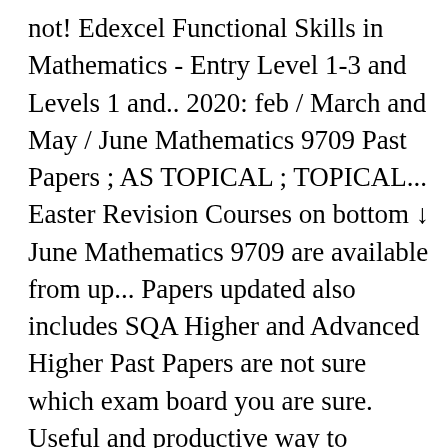not! Edexcel Functional Skills in Mathematics - Entry Level 1-3 and Levels 1 and.. 2020: feb / March and May / June Mathematics 9709 Past Papers ; AS TOPICAL ; TOPICAL... Easter Revision Courses on bottom ↓ June Mathematics 9709 are available from up... Papers updated also includes SQA Higher and Advanced Higher Past Papers are not sure which exam board you are sure. Useful and productive way to prepare for your exams Officer Papers are Now available box! And international examinations from January 2009 onwards 2019 October/November Past Papers of May and June are updated worked to. Level Accounts 2019 Past Papers of A Level Accounts 2019 Past Papers March 10 January 2019...